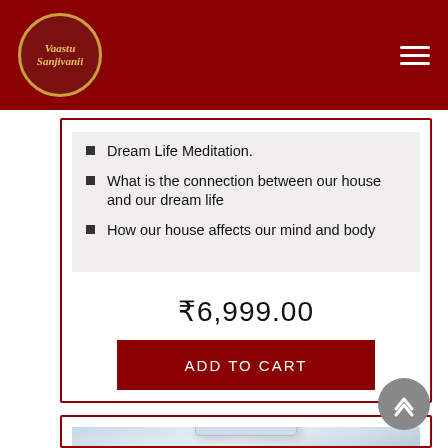Vaastu Sanjivanii
Dream Life Meditation.
What is the connection between our house and our dream life
How our house affects our mind and body
₹6,999.00
ADD TO CART
[Figure (photo): Product box with Vaastu Sanjivanii logo on a gradient background]